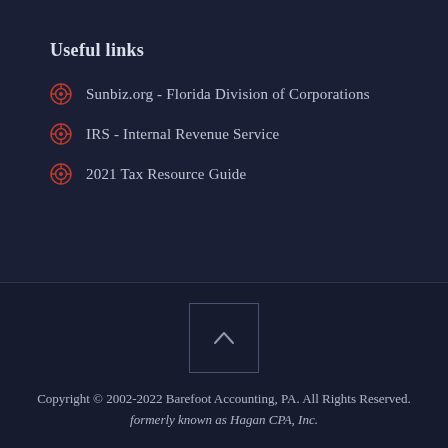Useful links
Sunbiz.org - Florida Division of Corporations
IRS - Internal Revenue Service
2021 Tax Resource Guide
Copyright © 2002-2022 Barefoot Accounting, PA. All Rights Reserved.
formerly known as Hagan CPA, Inc.